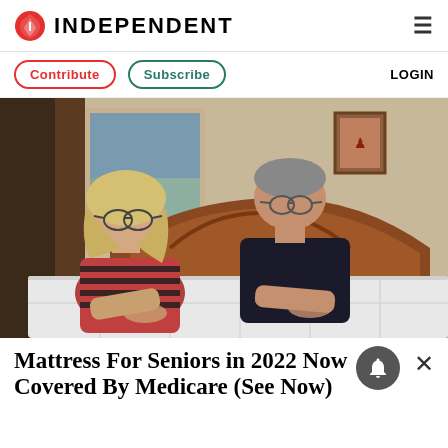INDEPENDENT
Contribute   Subscribe   LOGIN
[Figure (photo): An elderly couple leaning over a white mattress on a wooden bed frame in a bedroom setting. The woman on the left has blonde hair and glasses and wears a striped red and black top. The man on the right wears a dark polo shirt and glasses.]
Mattress For Seniors in 2022 Now Covered By Medicare (See Now)